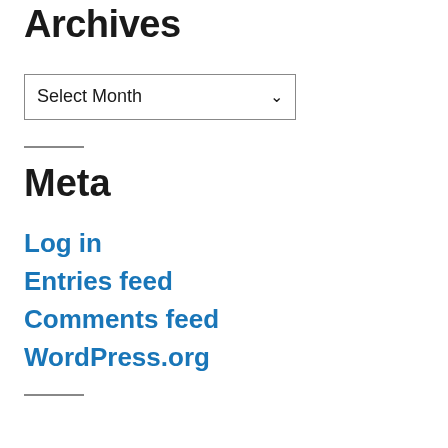Archives
[Figure (screenshot): A dropdown select box labeled 'Select Month' with a chevron arrow on the right, bordered in gray.]
Meta
Log in
Entries feed
Comments feed
WordPress.org